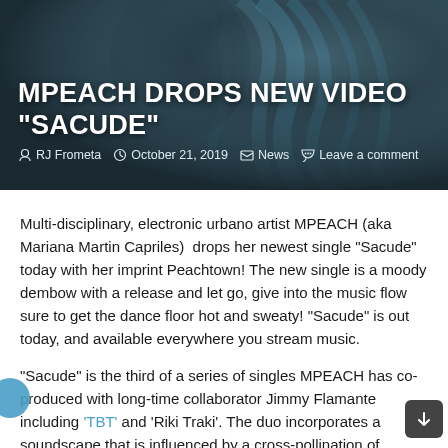[Figure (photo): Hero image with dark teal/blue hair background, woman with blue hair, dark overlay]
MPEACH DROPS NEW VIDEO “SACUDE”
RJ Frometa  October 21, 2019  News  Leave a comment
Multi-disciplinary, electronic urbano artist MPEACH (aka Mariana Martin Capriles)  drops her newest single “Sacude” today with her imprint Peachtown! The new single is a moody dembow with a release and let go, give into the music flow sure to get the dance floor hot and sweaty! “Sacude” is out today, and available everywhere you stream music.
“Sacude” is the third of a series of singles MPEACH has co-produced with long-time collaborator Jimmy Flamante including ‘TBT’ and ‘Riki Traki’. The duo incorporates a soundscape that is influenced by a cross-pollination of sounds from Latin America, the Caribbean, North America, and Europe. MPEACH is known to create experiences that carry cultures through space and time on a wave of electronic urbano